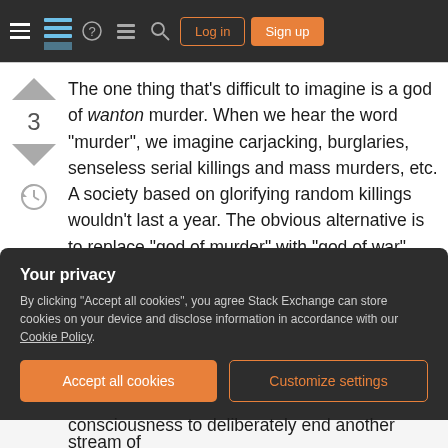Stack Exchange navigation bar with Log in and Sign up buttons
The one thing that's difficult to imagine is a god of wanton murder. When we hear the word "murder", we imagine carjacking, burglaries, senseless serial killings and mass murders, etc. A society based on glorifying random killings wouldn't last a year. The obvious alternative is to replace "god of murder" with "god of war", but that seems like dodging the question. I think there's a middle ground - a society that worships the act of killing a specific person, without also worship skill at martial arts, strategy,
Your privacy
By clicking "Accept all cookies", you agree Stack Exchange can store cookies on your device and disclose information in accordance with our Cookie Policy.
Accept all cookies   Customize settings
consciousness to deliberately end another stream of